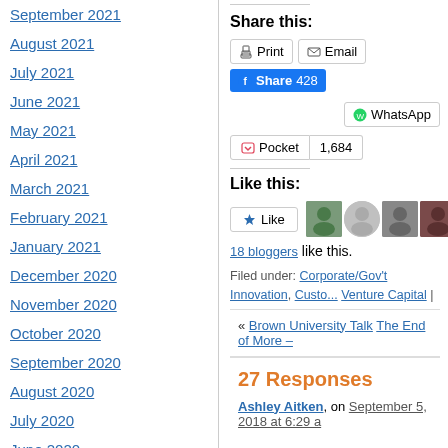September 2021
August 2021
July 2021
June 2021
May 2021
April 2021
March 2021
February 2021
January 2021
December 2020
November 2020
October 2020
September 2020
August 2020
July 2020
June 2020
May 2020
Share this:
Print | Email | Share 428 | WhatsApp | Pocket 1,684
Like this:
Like | 18 bloggers like this.
Filed under: Corporate/Gov't Innovation, Custo..., Venture Capital |
« Brown University Talk  The End of More –
27 Responses
Ashley Aitken, on September 5, 2018 at 6:29 a